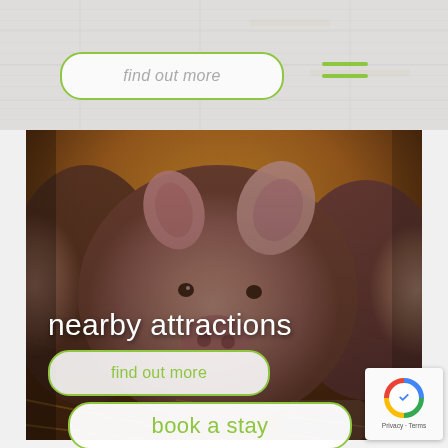[Figure (screenshot): Navigation bar with light gray map-textured background, a 'find out more' button with rounded border on left, and green hamburger menu icon on right]
find out more
[Figure (photo): Close-up photo of a young pig (piglet) lying in straw, looking at the camera. Warm orange/yellow straw background. Dark overlay over the image. Text 'nearby attractions' overlaid in white at bottom left, with a 'find out more' button below it.]
nearby attractions
find out more
book a stay